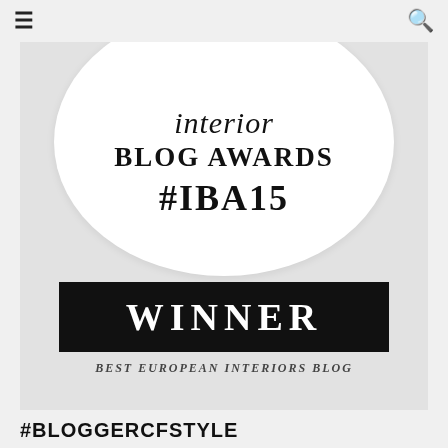≡  🔍
[Figure (logo): Interior Blog Awards #IBA15 Winner badge — circular white badge with italic script 'interior' text, bold 'BLOG AWARDS' text, bold '#IBA15' hashtag, a black banner with 'WINNER' in white, and italic text 'BEST EUROPEAN INTERIORS BLOG' below]
#BLOGGERCFSTYLE